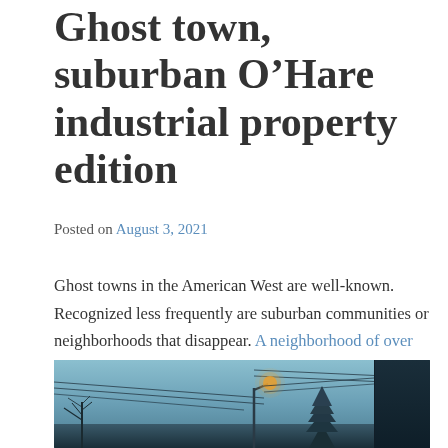Ghost town, suburban O’Hare industrial property edition
Posted on August 3, 2021
Ghost towns in the American West are well-known. Recognized less frequently are suburban communities or neighborhoods that disappear. A neighborhood of over 100 homes in Bensenville will be demolished to expand industrial facilities near O’Hare Airport:
[Figure (photo): Twilight/dusk street scene with power lines, a street lamp glowing orange, a conifer tree silhouette, and a dark building silhouette on the right, under a blue-grey overcast sky.]